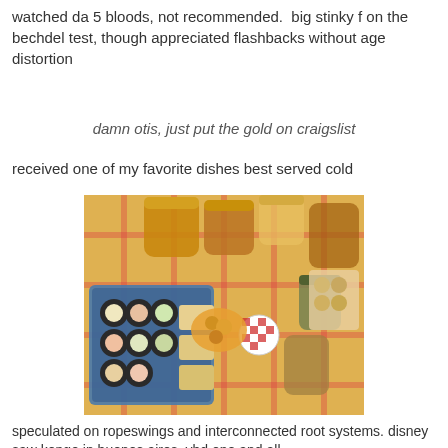watched da 5 bloods, not recommended.  big stinky f on the bechdel test, though appreciated flashbacks without age distortion
damn otis, just put the gold on craigslist
received one of my favorite dishes best served cold
[Figure (photo): Overhead view of a picnic table with a plaid tablecloth covered with mason jars of preserved foods, a blue container of sushi rolls with crackers, and other food items]
speculated on ropeswings and interconnected root systems. disney saw kongo in buenos aires, vbd one and all
[Figure (photo): Partial photo of a person outdoors with trees in the background, cropped at the bottom of the page]